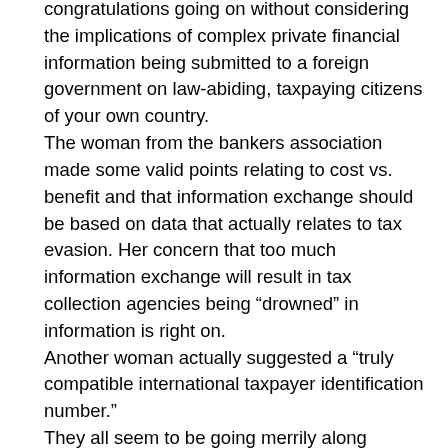congratulations going on without considering the implications of complex private financial information being submitted to a foreign government on law-abiding, taxpaying citizens of your own country. The woman from the bankers association made some valid points relating to cost vs. benefit and that information exchange should be based on data that actually relates to tax evasion. Her concern that too much information exchange will result in tax collection agencies being “drowned” in information is right on. Another woman actually suggested a “truly compatible international taxpayer identification number.” They all seem to be going merrily along assuming there will be true reciprocity. We